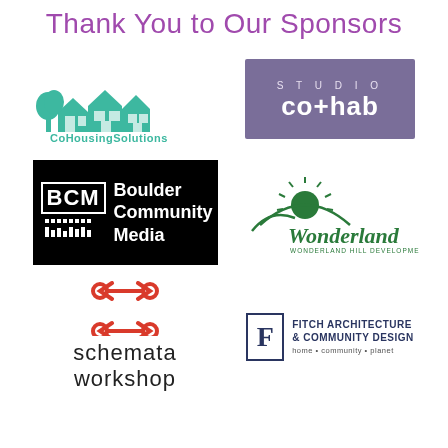Thank You to Our Sponsors
[Figure (logo): CoHousing Solutions logo — teal/green houses and tree silhouette with text 'CoHousingSolutions' and tagline 'sustainable neighborhood consultants']
[Figure (logo): Studio co+hab logo — purple/lavender rectangle with 'STUDIO' in small spaced caps and 'co+hab' in large bold white text]
[Figure (logo): BCM Boulder Community Media logo — black box with BCM initials in white border and text 'Boulder Community Media']
[Figure (logo): Wonderland Hill Development Co logo — green sun/landscape illustration with stylized 'Wonderland' script and 'WONDERLAND HILL DEVELOPMENT CO' text]
[Figure (logo): Schemata Workshop logo — red abstract bracket/arrow icon above 'schemata workshop' in lowercase sans-serif]
[Figure (logo): Fitch Architecture & Community Design logo — navy F in bordered box beside 'FITCH ARCHITECTURE & COMMUNITY DESIGN' and 'home • community • planet']